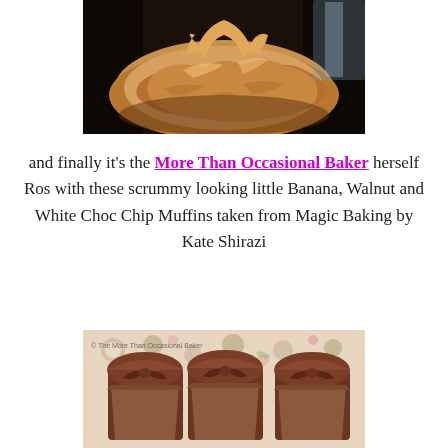[Figure (photo): A golden-brown baked pastry dish, appears to be a phyllo or filo pastry creation, sitting on a dark surface, photographed in natural light.]
and finally it's the More Than Occasional Baker herself Ros with these scrummy looking little Banana, Walnut and White Choc Chip Muffins taken from Magic Baking by Kate Shirazi
[Figure (photo): Chocolate muffins with brown paper cases arranged on a floral tablecloth, with watermark '© The More Than Occasional Baker']